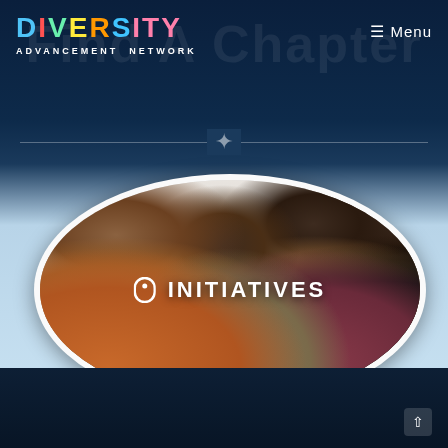DIVERSITY ADVANCEMENT NETWORK
≡ Menu
[Figure (illustration): Oval-shaped group photo of diverse young adults smiling and laughing together, with 'INITIATIVES' text overlay in white bold letters and a mouse/cursor icon, set against a light blue gradient background]
INITIATIVES